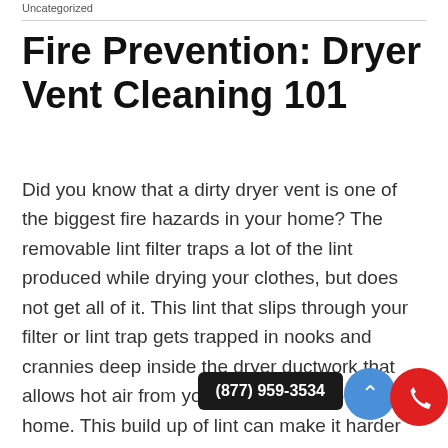Uncategorized
Fire Prevention: Dryer Vent Cleaning 101
Did you know that a dirty dryer vent is one of the biggest fire hazards in your home? The removable lint filter traps a lot of the lint produced while drying your clothes, but does not get all of it. This lint that slips through your filter or lint trap gets trapped in nooks and crannies deep inside the dryer ductwork that allows hot air from your dryer to escape your home. This build up of lint can make it harder for your dryer to work and can lead to overheating. This excess he lint and cause house fires.